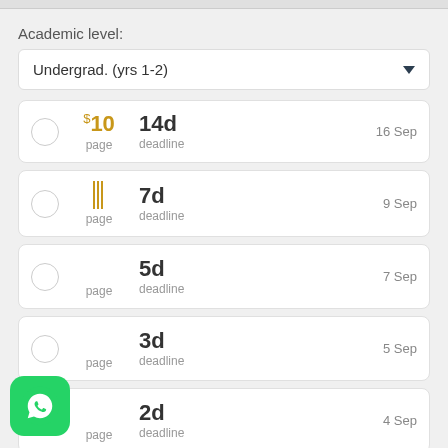Academic level:
Undergrad. (yrs 1-2)
$10 page | 14d deadline | 16 Sep
page | 7d deadline | 9 Sep
page | 5d deadline | 7 Sep
page | 3d deadline | 5 Sep
page | 2d deadline | 4 Sep